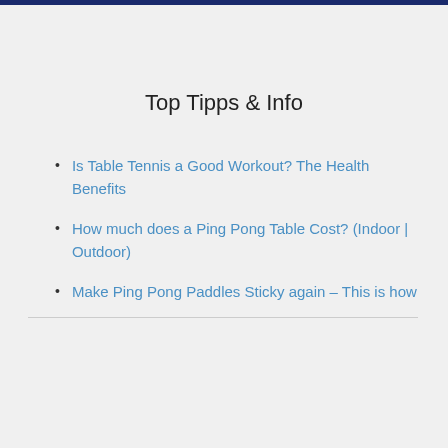Top Tipps & Info
Is Table Tennis a Good Workout? The Health Benefits
How much does a Ping Pong Table Cost? (Indoor | Outdoor)
Make Ping Pong Paddles Sticky again – This is how